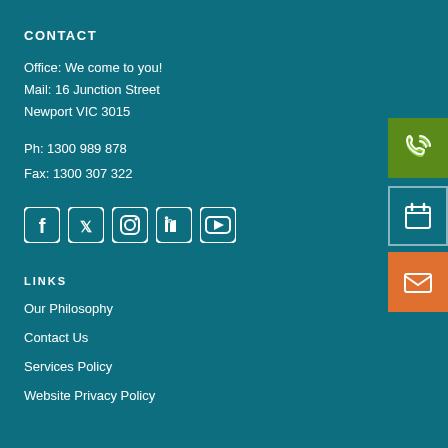CONTACT
Office: We come to you!
Mail: 16 Junction Street
Newport VIC 3015
Ph: 1300 989 878
Fax: 1300 307 322
[Figure (infographic): Social media icons: Facebook, Twitter, Instagram, LinkedIn, YouTube]
LINKS
Our Philosophy
Contact Us
Services Policy
Website Privacy Policy
[Figure (infographic): Green phone button, calendar icon button, orange email/envelope button on the right side]